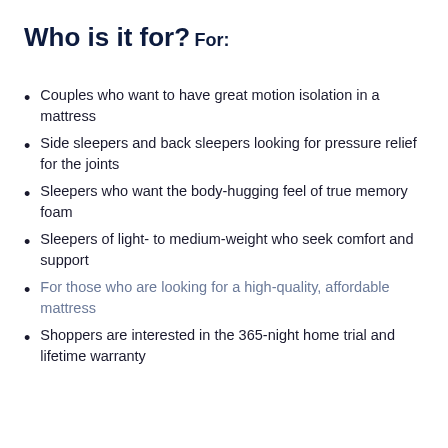Who is it for?
For:
Couples who want to have great motion isolation in a mattress
Side sleepers and back sleepers looking for pressure relief for the joints
Sleepers who want the body-hugging feel of true memory foam
Sleepers of light- to medium-weight who seek comfort and support
For those who are looking for a high-quality, affordable mattress
Shoppers are interested in the 365-night home trial and lifetime warranty